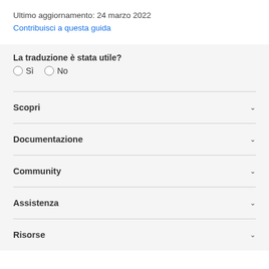Ultimo aggiornamento: 24 marzo 2022
Contribuisci a questa guida
La traduzione è stata utile?
○ Sì  ○ No
Scopri
Documentazione
Community
Assistenza
Risorse